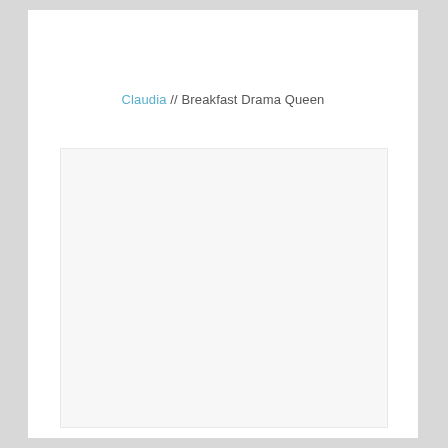Claudia // Breakfast Drama Queen
[Figure (other): Large light gray content placeholder box]